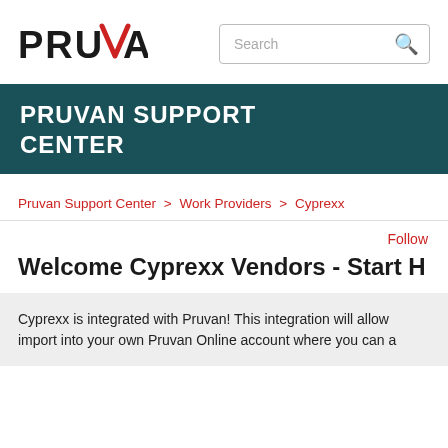[Figure (logo): PRUVAN logo with red checkmark V]
Search
PRUVAN SUPPORT CENTER
Pruvan Support Center > Work Providers > Cyprexx
Follow
Welcome Cyprexx Vendors - Start H
Cyprexx is integrated with Pruvan! This integration will allow import into your own Pruvan Online account where you can a